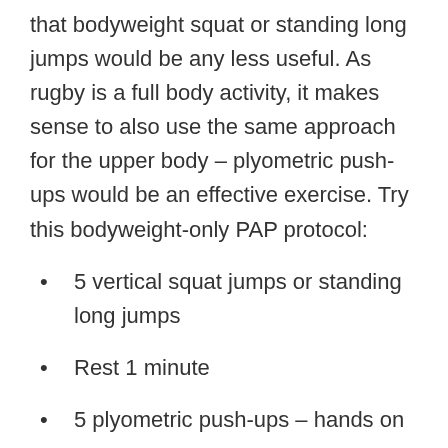that bodyweight squat or standing long jumps would be any less useful. As rugby is a full body activity, it makes sense to also use the same approach for the upper body – plyometric push-ups would be an effective exercise. Try this bodyweight-only PAP protocol:
5 vertical squat jumps or standing long jumps
Rest 1 minute
5 plyometric push-ups – hands on an